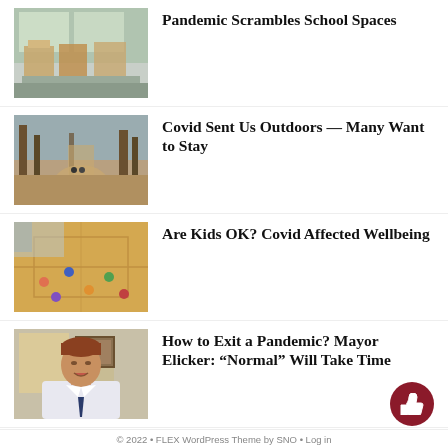[Figure (photo): Classroom with desks and cardboard dividers between students]
Pandemic Scrambles School Spaces
[Figure (photo): Two people walking on a forest path with trees and fallen leaves]
Covid Sent Us Outdoors — Many Want to Stay
[Figure (photo): Children playing on a gymnasium floor viewed from above]
Are Kids OK? Covid Affected Wellbeing
[Figure (photo): Man in white shirt and tie speaking, appears to be in a video call or interview]
How to Exit a Pandemic? Mayor Elicker: “Normal” Will Take Time
© 2022 • FLEX WordPress Theme by SNO • Log in